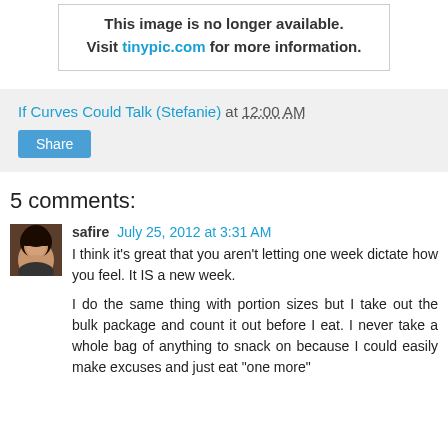[Figure (other): Tinypic placeholder image with text: 'This image is no longer available. Visit tinypic.com for more information.']
If Curves Could Talk (Stefanie) at 12:00 AM
Share
5 comments:
[Figure (photo): User avatar for safire — dark-haired woman photo]
safire July 25, 2012 at 3:31 AM
I think it's great that you aren't letting one week dictate how you feel. It IS a new week.

I do the same thing with portion sizes but I take out the bulk package and count it out before I eat. I never take a whole bag of anything to snack on because I could easily make excuses and just eat "one more"